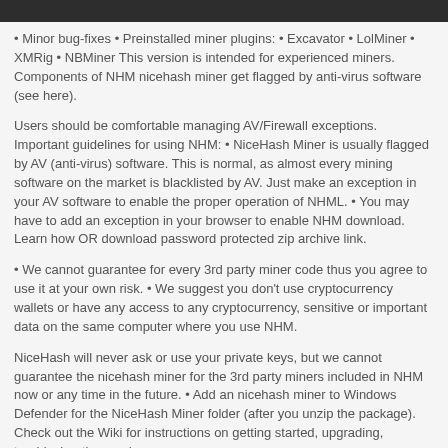• Minor bug-fixes • Preinstalled miner plugins: • Excavator • LolMiner • XMRig • NBMiner This version is intended for experienced miners. Components of NHM nicehash miner get flagged by anti-virus software (see here).
Users should be comfortable managing AV/Firewall exceptions. Important guidelines for using NHM: • NiceHash Miner is usually flagged by AV (anti-virus) software. This is normal, as almost every mining software on the market is blacklisted by AV. Just make an exception in your AV software to enable the proper operation of NHML. • You may have to add an exception in your browser to enable NHM download. Learn how OR download password protected zip archive link.
• We cannot guarantee for every 3rd party miner code thus you agree to use it at your own risk. • We suggest you don't use cryptocurrency wallets or have any access to any cryptocurrency, sensitive or important data on the same computer where you use NHM.
NiceHash will never ask or use your private keys, but we cannot guarantee the nicehash miner for the 3rd party miners included in NHM now or any time in the future. • Add an nicehash miner to Windows Defender for the NiceHash Miner folder (after you unzip the package). Check out the Wiki for instructions on getting started, upgrading, troubleshooting, and more.
If benchmarking fails, try running in "Precise" or manually benchmarking If autodownload fails, download the miner bins manually and unzip them to the miner plugin bins path. Miner binary package sources are in nhm\miner_plugins\XPlugin\internals\MinersBinsUrlsSettings.json for XPlugin. Download NiceHash Miner 3.0.7.2 installer Download NiceHash Miner 3.0.7.2 zip package • Changes from 3.0.7.1: • Update stratum URLs (remove mining locations).
• Minor bug-fixes • Preinstalled miner plugins: • Excavator • LolMiner • XMRig